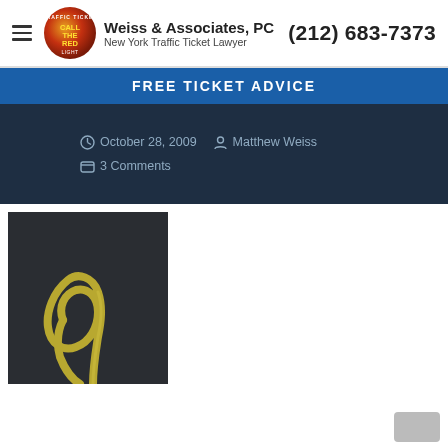Weiss & Associates, PC — New York Traffic Ticket Lawyer — (212) 683-7373
FREE TICKET ADVICE
October 28, 2009   Matthew Weiss   3 Comments
[Figure (photo): Yellow rope on dark background, looped into a loose knot shape]